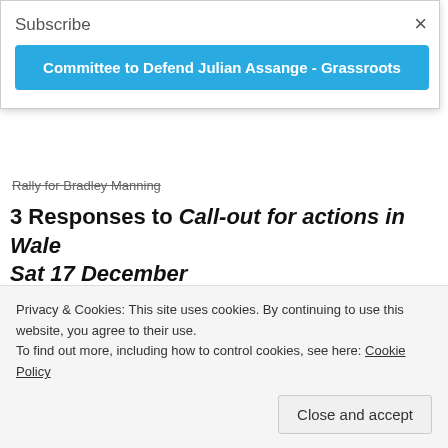Subscribe
Committee to Defend Julian Assange - Grassroots
Rally for Bradley Manning
3 Responses to Call-out for actions in Wales Sat 17 December
Tom Baxter says: December 12, 2011 at 2:57 am
I was going to say, “Go here and get your event listed.”
Reply
Privacy & Cookies: This site uses cookies. By continuing to use this website, you agree to their use.
To find out more, including how to control cookies, see here: Cookie Policy
Close and accept